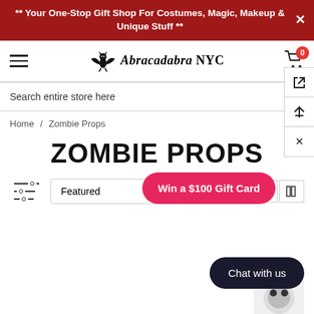** Your One-Stop Gift Shop For Costumes, Magic, Makeup & Unique Stuff **
[Figure (logo): Abracadabra NYC logo with bat/dragon mascot graphic and stylized text]
Search entire store here
Home / Zombie Props
ZOMBIE PROPS
Win a $100 Gift Card
Featured
Chat with us